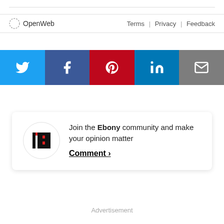[Figure (logo): OpenWeb logo with gear/sun icon and text 'OpenWeb']
Terms | Privacy | Feedback
[Figure (infographic): Social share buttons row: Twitter (blue), Facebook (dark blue), Pinterest (red), LinkedIn (blue), Email (gray)]
[Figure (logo): Ebony magazine circular logo]
Join the Ebony community and make your opinion matter
Comment >
Advertisement